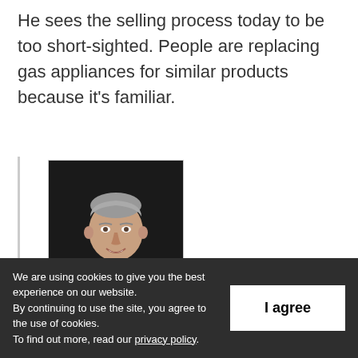He sees the selling process today to be too short-sighted. People are replacing gas appliances for similar products because it's familiar.
[Figure (photo): Professional headshot of Kevin Spencer, a middle-aged man with short grey hair wearing a dark suit, smiling at the camera against a dark background.]
Kevin Spencer, Modern
We are using cookies to give you the best experience on our website. By continuing to use the site, you agree to the use of cookies. To find out more, read our privacy policy.